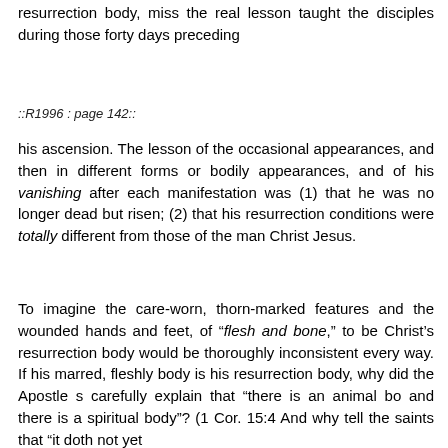resurrection body, miss the real lesson taught the disciples during those forty days preceding
::R1996 : page 142::
his ascension. The lesson of the occasional appearances, and then in different forms or bodily appearances, and of his vanishing after each manifestation was (1) that he was no longer dead but risen; (2) that his resurrection conditions were totally different from those of the man Christ Jesus.
To imagine the care-worn, thorn-marked features and the wounded hands and feet, of “flesh and bone,” to be Christ’s resurrection body would be thoroughly inconsistent every way. If his marred, fleshly body is his resurrection body, why did the Apostle s carefully explain that “there is an animal bo and there is a spiritual body”? (1 Cor. 15:4 And why tell the saints that “it doth not yet